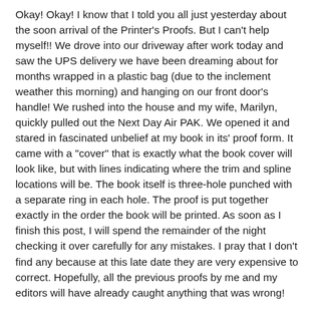Okay! Okay! I know that I told you all just yesterday about the soon arrival of the Printer's Proofs.  But I can't help myself!!  We drove into our driveway after work today and saw the UPS delivery we have been dreaming about for months wrapped in a plastic bag (due to the inclement weather this morning) and hanging on our front door's handle!  We rushed into the house and my wife, Marilyn, quickly pulled out the Next Day Air PAK.  We opened it and stared in fascinated unbelief at my book in its' proof form.  It came with a "cover" that is exactly what the book cover will look like, but with lines indicating where the trim and spline locations will be.  The book itself is three-hole punched with a separate ring in each hole.  The proof is put together exactly in the order the book will be printed.  As soon as I finish this post, I will spend the remainder of the night checking it over carefully for any mistakes.  I pray that I don't find any because at this late date they are very expensive to correct.  Hopefully, all the previous proofs by me and my editors will have already caught anything that was wrong!
And before I finish this post I want to ask your prayers for a few extremely special people in my life.